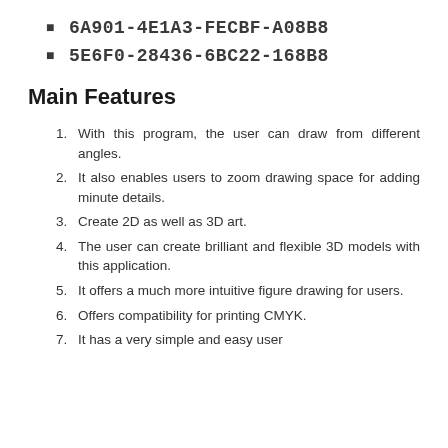6A901-4E1A3-FECBF-A08B8
5E6F0-28436-6BC22-168B8
Main Features
1. With this program, the user can draw from different angles.
2. It also enables users to zoom drawing space for adding minute details.
3. Create 2D as well as 3D art.
4. The user can create brilliant and flexible 3D models with this application.
5. It offers a much more intuitive figure drawing for users.
6. Offers compatibility for printing CMYK.
7. It has a very simple and easy user